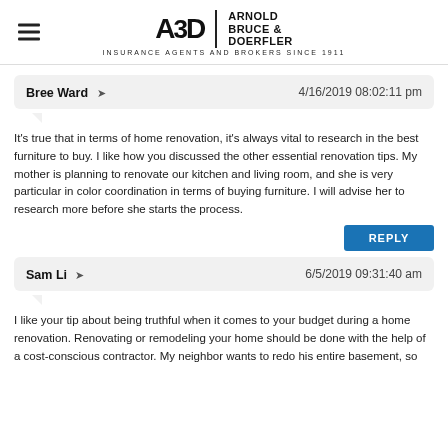[Figure (logo): Arnold Bruce & Doerfler insurance agents and brokers since 1911 logo with hamburger menu icon]
Bree Ward ➤  4/16/2019 08:02:11 pm
It's true that in terms of home renovation, it's always vital to research in the best furniture to buy. I like how you discussed the other essential renovation tips. My mother is planning to renovate our kitchen and living room, and she is very particular in color coordination in terms of buying furniture. I will advise her to research more before she starts the process.
REPLY
Sam Li ➤  6/5/2019 09:31:40 am
I like your tip about being truthful when it comes to your budget during a home renovation. Renovating or remodeling your home should be done with the help of a cost-conscious contractor. My neighbor wants to redo his entire basement, so